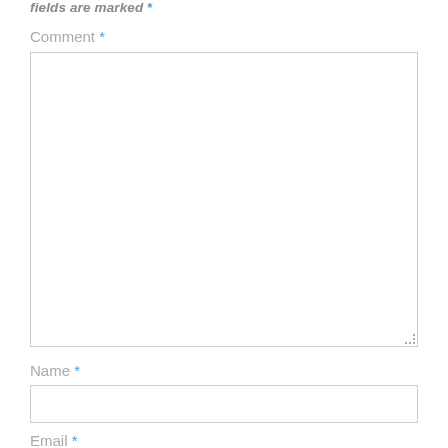fields are marked *
Comment *
[Figure (other): Large empty comment textarea input box with resize handle at bottom-right]
Name *
[Figure (other): Single-line text input box for Name field]
Email *